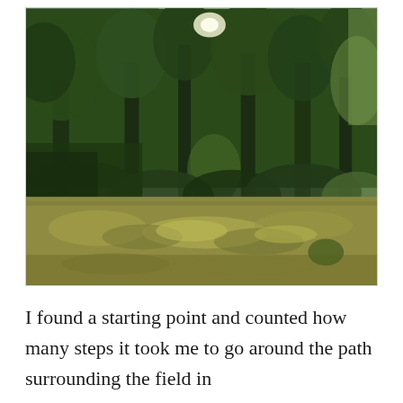[Figure (photo): Outdoor photograph of a grassy field in the foreground with a dense line of green trees and shrubs in the background. Sunlight filters through the tree canopy. The grass is partially yellowed and the scene is taken during summer.]
I found a starting point and counted how many steps it took me to go around the path surrounding the field in